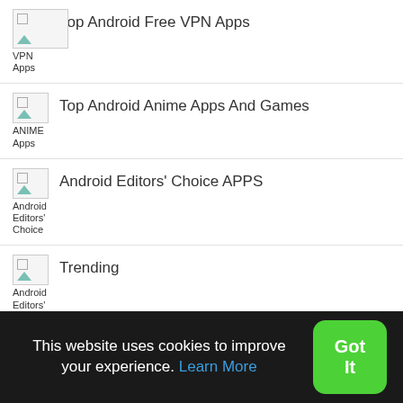VPN Apps  Top Android Free VPN Apps
ANIME Apps  Top Android Anime Apps And Games
Android Editors' Choice  Android Editors' Choice APPS
Android Editors' Choice  Trending
Android Education  Education
This website uses cookies to improve your experience. Learn More
Got It